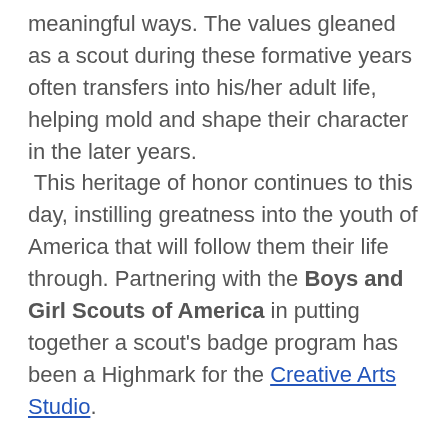to become citizens who contribute to society in meaningful ways. The values gleaned as a scout during these formative years often transfers into his/her adult life, helping mold and shape their character in the later years.  This heritage of honor continues to this day, instilling greatness into the youth of America that will follow them their life through. Partnering with the Boys and Girl Scouts of America in putting together a scout's badge program has been a Highmark for the Creative Arts Studio.
The well-known catch phrase,